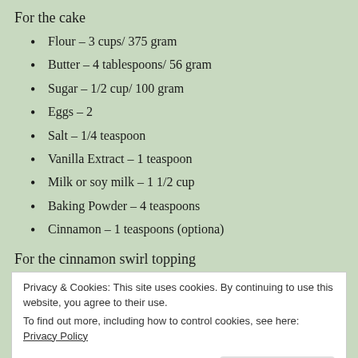For the cake
Flour – 3 cups/ 375 gram
Butter – 4 tablespoons/ 56 gram
Sugar – 1/2 cup/ 100 gram
Eggs – 2
Salt – 1/4 teaspoon
Vanilla Extract – 1 teaspoon
Milk or soy milk – 1 1/2 cup
Baking Powder – 4 teaspoons
Cinnamon – 1 teaspoons (optiona)
For the cinnamon swirl topping
Privacy & Cookies: This site uses cookies. By continuing to use this website, you agree to their use.
To find out more, including how to control cookies, see here: Privacy Policy
Method